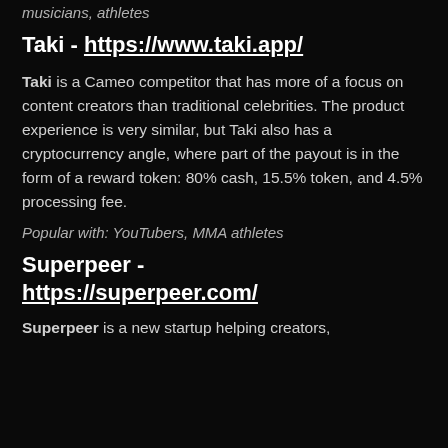musicians, athletes
Taki - https://www.taki.app/
Taki is a Cameo competitor that has more of a focus on content creators than traditional celebrities. The product experience is very similar, but Taki also has a cryptocurrency angle, where part of the payout is in the form of a reward token: 80% cash, 15.5% token, and 4.5% processing fee.
Popular with: YouTubers, MMA athletes
Superpeer - https://superpeer.com/
Superpeer is a new startup helping creators,